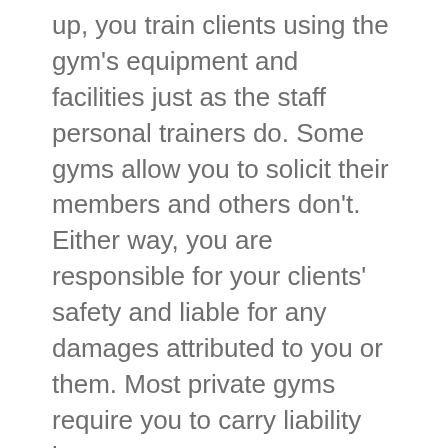up, you train clients using the gym's equipment and facilities just as the staff personal trainers do. Some gyms allow you to solicit their members and others don't. Either way, you are responsible for your clients' safety and liable for any damages attributed to you or them. Most private gyms require you to carry liability insurance.
Typically, your only daily cash outlay would be a per session fee. These fees are usually reasonable unless you're working in a popular gym. Many small gym owners like this arrangement because they can offer personal training services without incurring salary, liability and tax expenses. Plus, they usually require that